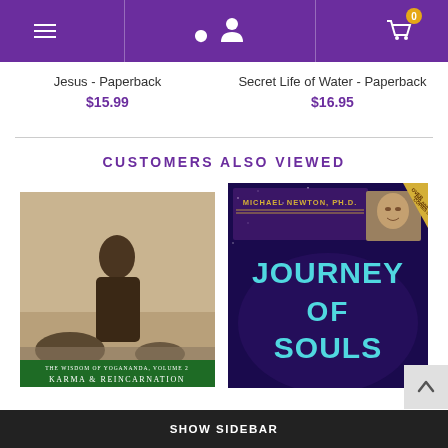Navigation header with menu, user, and cart icons
Jesus - Paperback
$15.99
Secret Life of Water - Paperback
$16.95
CUSTOMERS ALSO VIEWED
[Figure (photo): Book cover: Karma & Reincarnation - The Wisdom of Yogananda, Volume 2, sepia photo of a robed figure]
[Figure (photo): Book cover: Journey of Souls by Michael Newton, Ph.D., dark starfield background with teal lettering]
SHOW SIDEBAR